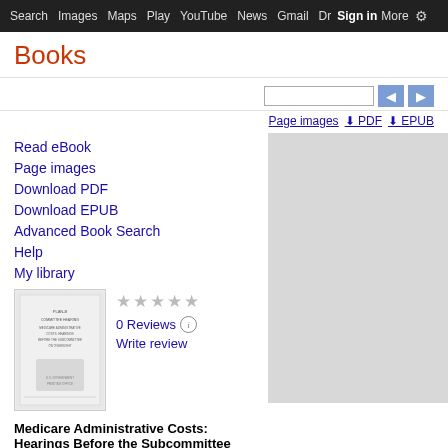Search  Images  Maps  Play  YouTube  News  Gmail  Drive  More  Sign in  Settings
Books
Read eBook
Page images
Download PDF
Download EPUB
Advanced Book Search
Help
My library
[Figure (illustration): Book cover thumbnail for Medicare Administrative Costs government hearing document]
0 Reviews
Write review
Medicare Administrative Costs:
Hearings Before the Subcommittee on